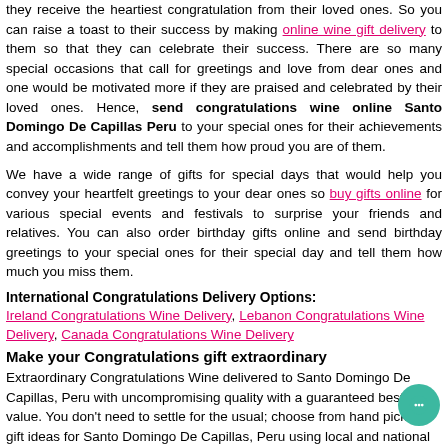they receive the heartiest congratulation from their loved ones. So you can raise a toast to their success by making online wine gift delivery to them so that they can celebrate their success. There are so many special occasions that call for greetings and love from dear ones and one would be motivated more if they are praised and celebrated by their loved ones. Hence, send congratulations wine online Santo Domingo De Capillas Peru to your special ones for their achievements and accomplishments and tell them how proud you are of them.
We have a wide range of gifts for special days that would help you convey your heartfelt greetings to your dear ones so buy gifts online for various special events and festivals to surprise your friends and relatives. You can also order birthday gifts online and send birthday greetings to your special ones for their special day and tell them how much you miss them.
International Congratulations Delivery Options:
Ireland Congratulations Wine Delivery, Lebanon Congratulations Wine Delivery, Canada Congratulations Wine Delivery
Make your Congratulations gift extraordinary
Extraordinary Congratulations Wine delivered to Santo Domingo De Capillas, Peru with uncompromising quality with a guaranteed best value. You don't need to settle for the usual; choose from hand picked gift ideas for Santo Domingo De Capillas, Peru using local and national couriers all to delight your recipient.
You may also like :